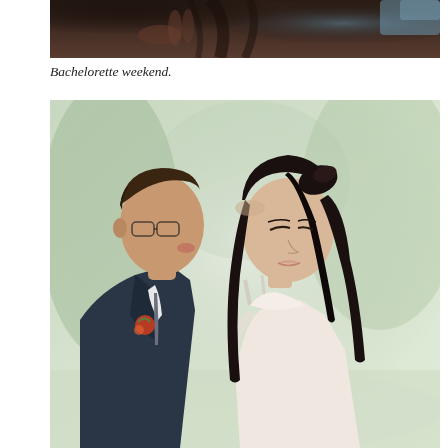[Figure (photo): Partial top photo, cropped view — appears to be a bachelorette weekend photo, showing dark hair and hands against a dark background with a hint of blue/teal in the upper right corner.]
Bachelorette weekend.
[Figure (photo): Wedding photo of a couple facing each other intimately. The groom, wearing a dark navy suit with a white shirt, grey tie, and a red boutonniere, is kissing the bride on the forehead. The bride has long dark hair styled in a half-up do and is wearing a white/blush off-shoulder dress with sheer sleeves. The background is softly blurred with greenery and natural light.]